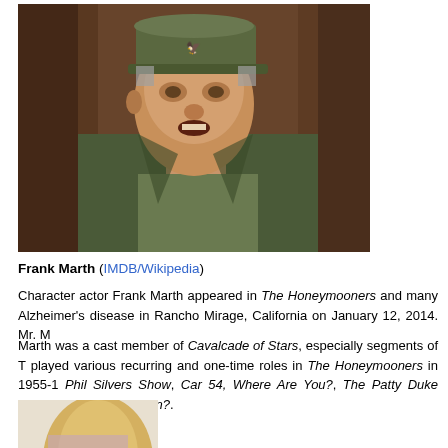[Figure (photo): A man wearing an olive/army green military cap with a bird insignia, an open green jacket over a lighter green shirt, looking slightly to the side with mouth open, set against a dark wooden background. The photo appears to be a TV still.]
Frank Marth (IMDB/Wikipedia)
Character actor Frank Marth appeared in The Honeymooners and many Alzheimer's disease in Rancho Mirage, California on January 12, 2014. Mr. M
Marth was a cast member of Cavalcade of Stars, especially segments of T played various recurring and one-time roles in The Honeymooners in 1955-1 Phil Silvers Show, Car 54, Where Are You?, The Patty Duke Show, My Fav You Again?.
[Figure (photo): Partial photo of a blonde woman, visible from approximately shoulder level up, cut off by the bottom of the page.]